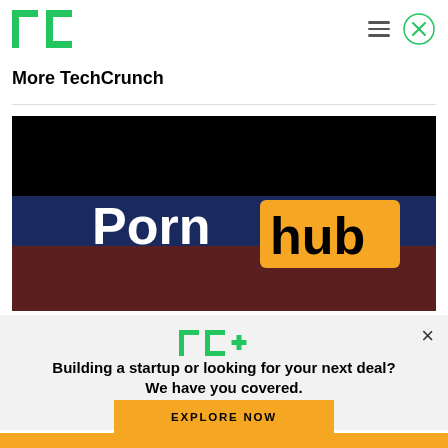TechCrunch
More TechCrunch
[Figure (photo): Pornhub logo on dark background with black, dark blue, and dark red/brown horizontal bands]
[Figure (logo): TC+ logo (TechCrunch Plus) in green with plus sign in green]
Building a startup or looking for your next deal? We have you covered.
EXPLORE NOW